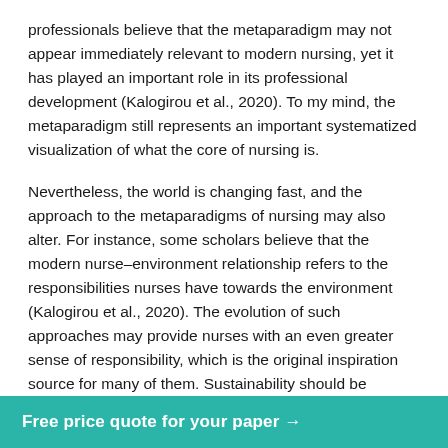professionals believe that the metaparadigm may not appear immediately relevant to modern nursing, yet it has played an important role in its professional development (Kalogirou et al., 2020). To my mind, the metaparadigm still represents an important systematized visualization of what the core of nursing is.
Nevertheless, the world is changing fast, and the approach to the metaparadigms of nursing may also alter. For instance, some scholars believe that the modern nurse–environment relationship refers to the responsibilities nurses have towards the environment (Kalogirou et al., 2020). The evolution of such approaches may provide nurses with an even greater sense of responsibility, which is the original inspiration source for many of them. Sustainability should be promoted among nurses, as not all of them directly encounter the health problems which are caused by troubles of the modern
Free price quote for your paper →